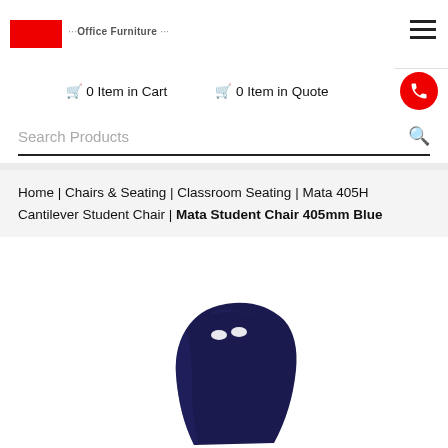[Figure (logo): Red rectangle logo with partially visible text 'Office Furniture' beside it and hamburger menu icon top right]
0 Item in Cart   0 Item in Quote
Search Products
Home | Chairs & Seating | Classroom Seating | Mata 405H Cantilever Student Chair | Mata Student Chair 405mm Blue
[Figure (photo): Blue Mata student chair back rest, dark navy blue color, viewed from the side/back angle, showing two small cutout holes near the top]